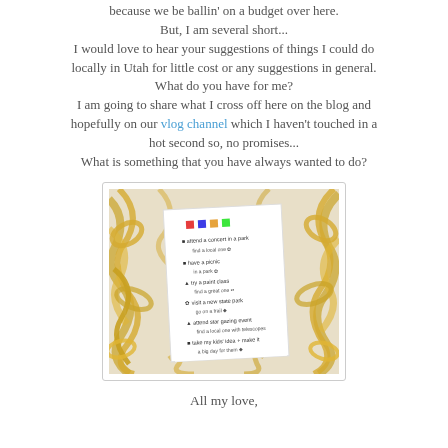because we be ballin' on a budget over here.
But, I am several short...
I would love to hear your suggestions of things I could do locally in Utah for little cost or any suggestions in general.
What do you have for me?
I am going to share what I cross off here on the blog and hopefully on our vlog channel which I haven't touched in a hot second so, no promises...
What is something that you have always wanted to do?
[Figure (photo): A printed bucket list or checklist paper with small icons and handwritten-style text, surrounded by shiny gold ribbon bows on a white background.]
All my love,